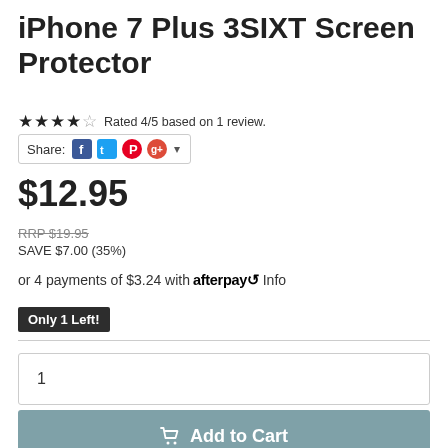iPhone 7 Plus 3SIXT Screen Protector
Rated 4/5 based on 1 review.
Share:
$12.95
RRP $19.95
SAVE $7.00 (35%)
or 4 payments of $3.24 with afterpay Info
Only 1 Left!
1
Add to Cart